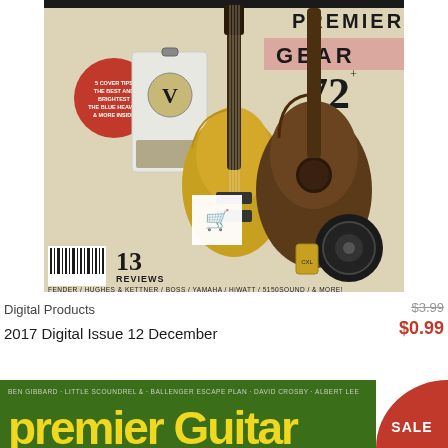[Figure (photo): Magazine cover of Premier Guitar, December 2017 issue showing guitars, an amplifier and speaker. Text reads '72 Guitars & Gear...', '13 Reviews', brands listed: FENDER / HUGHES & KETTNER / BOSS / YAMAHA / HiWATT / 5150SOUND / & MORE. Red circular badge on left side. Cart/shopping icon overlay in the center.]
Digital Products
$3.99
$0.99
2017 Digital Issue 12 December
[Figure (photo): Second magazine cover partially visible at the bottom with green background and yellow title text. A red SALE badge circle appears in the bottom right corner.]
SALE